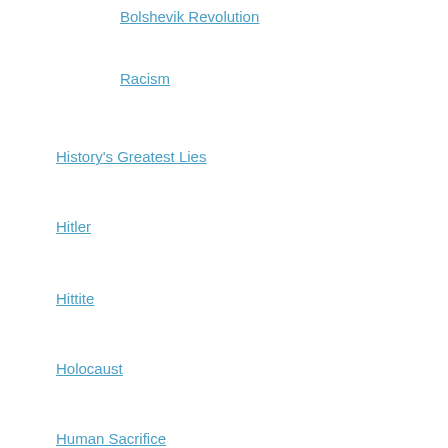Bolshevik Revolution
Racism
History's Greatest Lies
Hitler
Hittite
Holocaust
Human Sacrifice
ICEBERG – Walter Reinhold Warttig Mattfeld
ICEBERG – ZIONSIM
Illusion/Reality